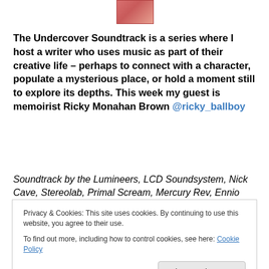[Figure (illustration): Small book cover image at top center, pinkish-red color]
The Undercover Soundtrack is a series where I host a writer who uses music as part of their creative life – perhaps to connect with a character, populate a mysterious place, or hold a moment still to explore its depths. This week my guest is memoirist Ricky Monahan Brown @ricky_ballboy
Soundtrack by the Lumineers, LCD Soundsystem, Nick Cave, Stereolab, Primal Scream, Mercury Rev, Ennio Morricone, Stereolab, Nick Cave, Erika Collins, Reminiscence Bump.
Privacy & Cookies: This site uses cookies. By continuing to use this website, you agree to their use.
To find out more, including how to control cookies, see here: Cookie Policy
Close and accept
Reminiscence Bump.